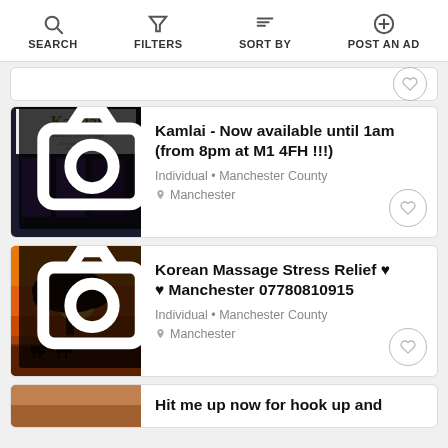SEARCH | FILTERS | SORT BY | POST AN AD
[Figure (screenshot): Partial listing card stub at top with heart button]
[Figure (photo): Kamlai Traditional Thai Massage storefront photo with logo]
Kamlai - Now available until 1am (from 8pm at M1 4FH !!!)
Individual • Manchester County
Manchester
[Figure (photo): Painting of a tree at sunset with cattle, orange/red background]
Korean Massage Stress Relief ♥ ♥ Manchester 07780810915
Individual • Manchester County
Manchester
Hit me up now for hook up and